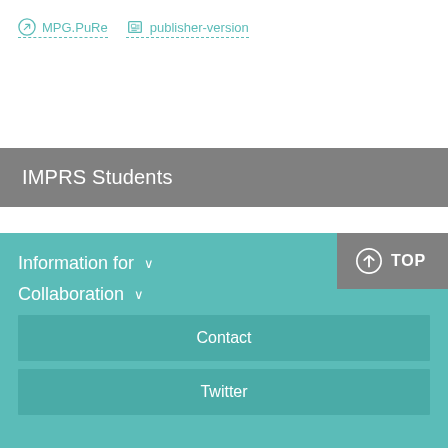MPG.PuRe   publisher-version
IMPRS Students
TOP   Information for ∨   Collaboration ∨   Contact   Twitter